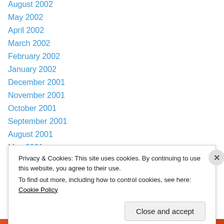August 2002
May 2002
April 2002
March 2002
February 2002
January 2002
December 2001
November 2001
October 2001
September 2001
August 2001
May 2001
April 2001
March 2001
Privacy & Cookies: This site uses cookies. By continuing to use this website, you agree to their use.
To find out more, including how to control cookies, see here: Cookie Policy